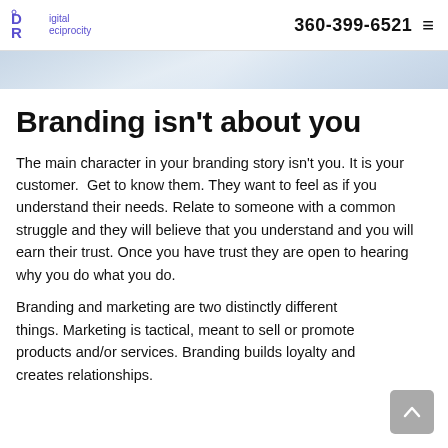Digital Reciprocity | 360-399-6521
[Figure (photo): Light blue/grey hero banner image with soft texture]
Branding isn't about you
The main character in your branding story isn't you. It is your customer.  Get to know them. They want to feel as if you understand their needs. Relate to someone with a common struggle and they will believe that you understand and you will earn their trust. Once you have trust they are open to hearing why you do what you do.
Branding and marketing are two distinctly different things. Marketing is tactical, meant to sell or promote products and/or services. Branding builds loyalty and creates relationships.